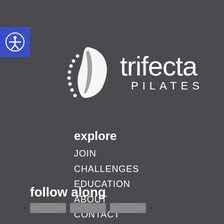[Figure (logo): Accessibility icon button - circular person with arms outstretched on a blue square background]
[Figure (logo): Trifecta Pilates logo: white spine/leaf icon on dark background with 'trifecta PILATES' text in white]
explore
JOIN
CHALLENGES
EDUCATION
ABOUT
CONTACT
follow along